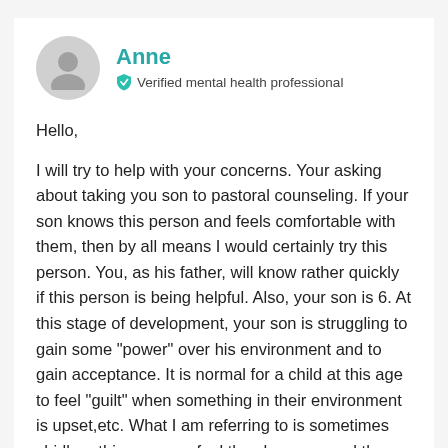Anne
Verified mental health professional
Hello,
I will try to help with your concerns. Your asking about taking you son to pastoral counseling. If your son knows this person and feels comfortable with them, then by all means I would certainly try this person. You, as his father, will know rather quickly if this person is being helpful. Also, your son is 6. At this stage of development, your son is struggling to gain some "power" over his environment and to gain acceptance. It is normal for a child at this age to feel "guilt" when something in their environment is upset,etc. What I am referring to is sometimes chidlren this age may feel they have caused the problem ie your pending divorce. They feel that they have done something wrong to either you